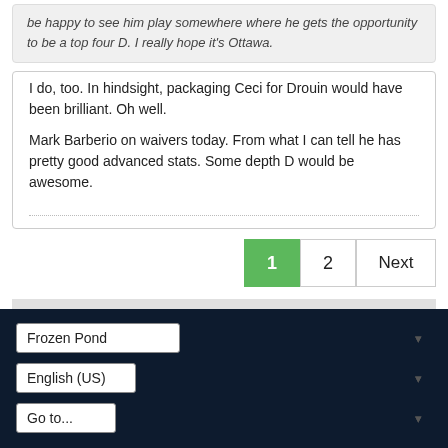be happy to see him play somewhere where he gets the opportunity to be a top four D. I really hope it's Ottawa.
I do, too. In hindsight, packaging Ceci for Drouin would have been brilliant. Oh well.

Mark Barberio on waivers today. From what I can tell he has pretty good advanced stats. Some depth D would be awesome.
1  2  Next
Frozen Pond
English (US)
Go to...
Powered by vBulletin Version 5.6.9
Copyright © 2022 MH Sub I, LLC dba vBulletin. All rights reserved.
All times are GMT-5. This page was generated at 12:57 PM.